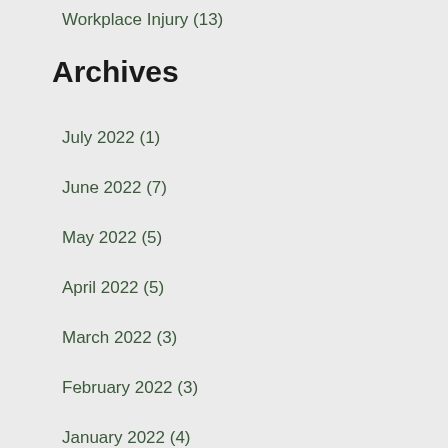Workplace Injury (13)
Archives
July 2022 (1)
June 2022 (7)
May 2022 (5)
April 2022 (5)
March 2022 (3)
February 2022 (3)
January 2022 (4)
December 2021 (7)